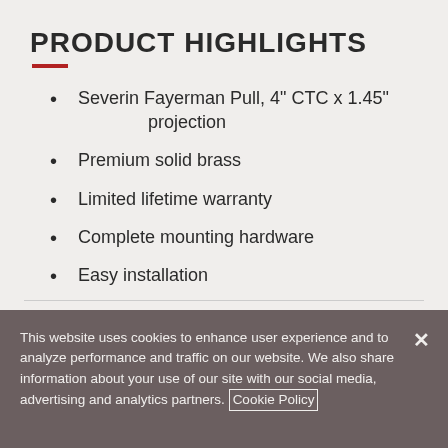PRODUCT HIGHLIGHTS
Severin Fayerman Pull, 4" CTC x 1.45" projection
Premium solid brass
Limited lifetime warranty
Complete mounting hardware
Easy installation
This website uses cookies to enhance user experience and to analyze performance and traffic on our website. We also share information about your use of our site with our social media, advertising and analytics partners. Cookie Policy